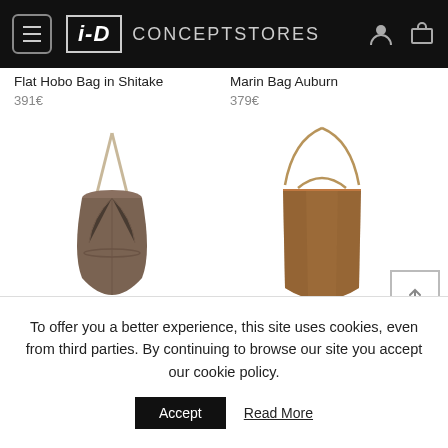[Figure (screenshot): i-D CONCEPTSTORES website header with navigation menu icon, logo, store name, and user/cart icons on black background]
Flat Hobo Bag in Shitake
391€
Marin Bag Auburn
379€
[Figure (photo): Dark taupe/brown bucket-style drawstring bag with thin shoulder strap]
[Figure (photo): Auburn/tan structured tote bag with chain shoulder strap]
To offer you a better experience, this site uses cookies, even from third parties. By continuing to browse our site you accept our cookie policy.
Accept
Read More